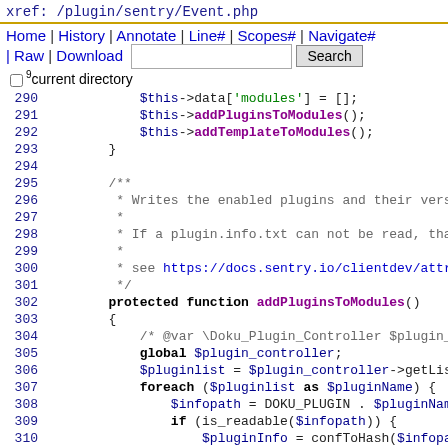xref: /plugin/sentry/Event.php
Home | History | Annotate | Line# | Scopes# | Navigate# | Raw | Download   [Search]  current directory
[Figure (screenshot): PHP source code viewer showing lines 290-313 of /plugin/sentry/Event.php with syntax highlighting. Code includes addPluginsToModules and addTemplateToModules method calls, a PHPDoc block, and the addPluginsToModules function definition with plugin iteration logic.]